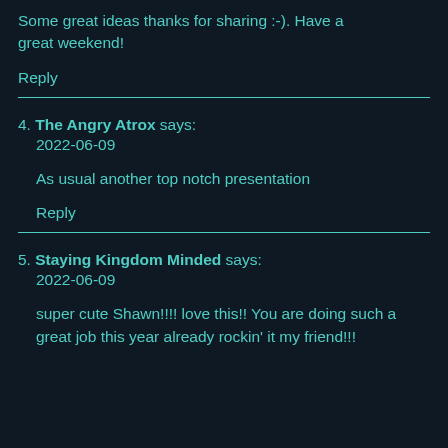Some great ideas thanks for sharing :-). Have a great weekend!
Reply
4. The Angry Atrox says:
2022-06-09
As usual another top notch presentation
Reply
5. Staying Kingdom Minded says:
2022-06-09
super cute Shawn!!!! love this!! You are doing such a great job this year already rockin' it my friend!!!